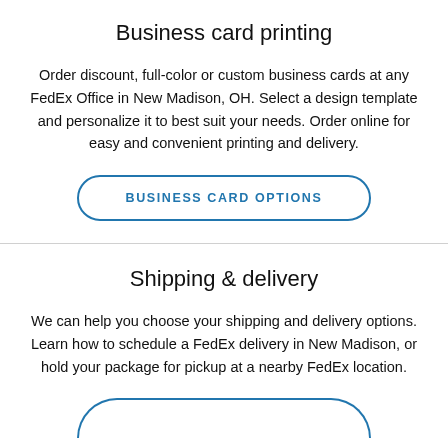Business card printing
Order discount, full-color or custom business cards at any FedEx Office in New Madison, OH. Select a design template and personalize it to best suit your needs. Order online for easy and convenient printing and delivery.
BUSINESS CARD OPTIONS
Shipping & delivery
We can help you choose your shipping and delivery options. Learn how to schedule a FedEx delivery in New Madison, or hold your package for pickup at a nearby FedEx location.